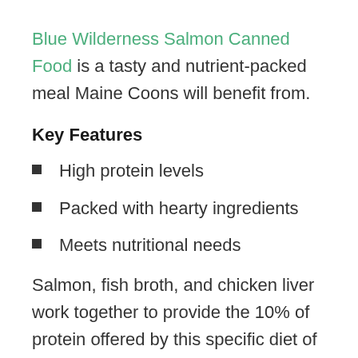Blue Wilderness Salmon Canned Food is a tasty and nutrient-packed meal Maine Coons will benefit from.
Key Features
High protein levels
Packed with hearty ingredients
Meets nutritional needs
Salmon, fish broth, and chicken liver work together to provide the 10% of protein offered by this specific diet of Blue Wilderness. Its high protein levels keep cats active and their bodies healthy. Salmon